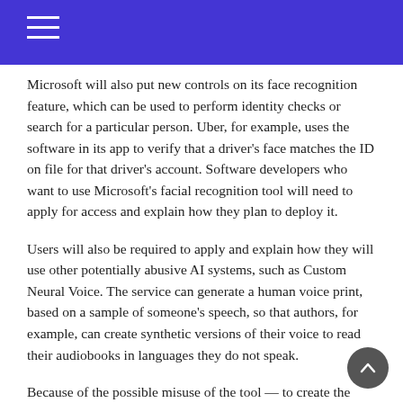Microsoft will also put new controls on its face recognition feature, which can be used to perform identity checks or search for a particular person. Uber, for example, uses the software in its app to verify that a driver's face matches the ID on file for that driver's account. Software developers who want to use Microsoft's facial recognition tool will need to apply for access and explain how they plan to deploy it.
Users will also be required to apply and explain how they will use other potentially abusive AI systems, such as Custom Neural Voice. The service can generate a human voice print, based on a sample of someone's speech, so that authors, for example, can create synthetic versions of their voice to read their audiobooks in languages they do not speak.
Because of the possible misuse of the tool — to create the impression that people have said things they have not — speakers must go through a series of steps to confirm that the use of their voice is authorized, and the recordings include watermarks detectable by